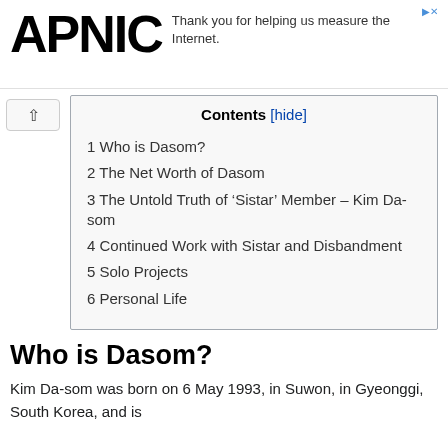APNIC
Thank you for helping us measure the Internet.
Contents [hide]
1 Who is Dasom?
2 The Net Worth of Dasom
3 The Untold Truth of ‘Sistar’ Member – Kim Da-som
4 Continued Work with Sistar and Disbandment
5 Solo Projects
6 Personal Life
Who is Dasom?
Kim Da-som was born on 6 May 1993, in Suwon, in Gyeonggi, South Korea, and is